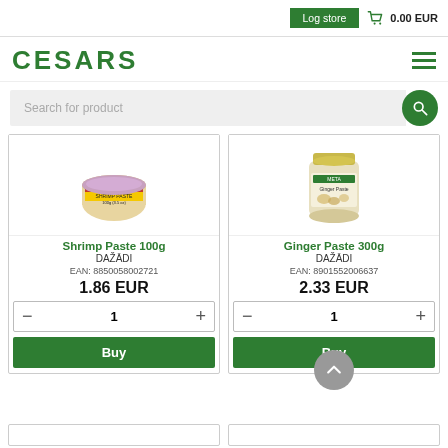Log store   0.00 EUR
[Figure (logo): CESARS green bold logo text with hamburger menu icon]
Search for product
[Figure (photo): Shrimp Paste 100g product jar with pink/red label]
Shrimp Paste 100g
DAŽĀDI
EAN: 8850058002721
1.86 EUR
[Figure (photo): Ginger Paste 300g product jar with yellow/cream label]
Ginger Paste 300g
DAŽĀDI
EAN: 8901552006637
2.33 EUR